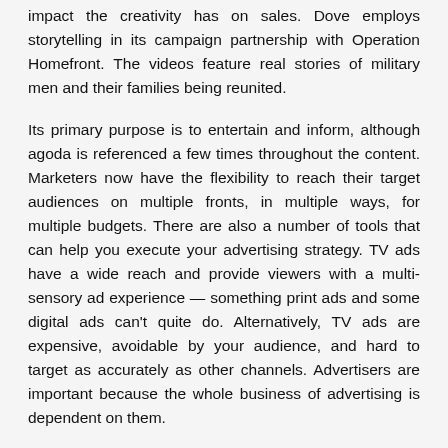impact the creativity has on sales. Dove employs storytelling in its campaign partnership with Operation Homefront. The videos feature real stories of military men and their families being reunited.
Its primary purpose is to entertain and inform, although agoda is referenced a few times throughout the content. Marketers now have the flexibility to reach their target audiences on multiple fronts, in multiple ways, for multiple budgets. There are also a number of tools that can help you execute your advertising strategy. TV ads have a wide reach and provide viewers with a multi-sensory ad experience — something print ads and some digital ads can't quite do. Alternatively, TV ads are expensive, avoidable by your audience, and hard to target as accurately as other channels. Advertisers are important because the whole business of advertising is dependent on them.
All the product categories we studied—body lotion, chewing gum, coffee, cola and lemonade, detergent, facial care, shampoo, shavers, and yogurt—are highly competitive and invest heavily in advertising. The findings confirm that creative campaigns are, in general, more effective than other